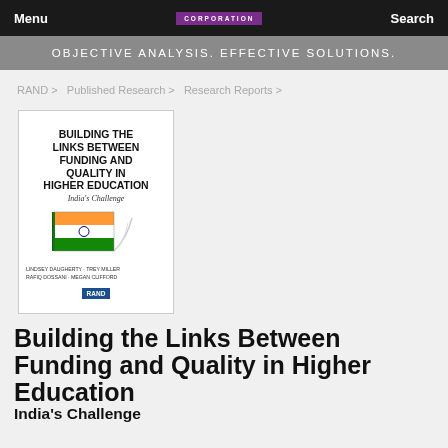Menu | RAND CORPORATION | Search
OBJECTIVE ANALYSIS. EFFECTIVE SOLUTIONS.
RAND > Published Research > Research Reports >
[Figure (other): Book cover for 'Building the Links Between Funding and Quality in Higher Education: India's Challenge' published by RAND Corporation, featuring Indian flag imagery and authors listed at bottom.]
Building the Links Between Funding and Quality in Higher Education
India's Challenge